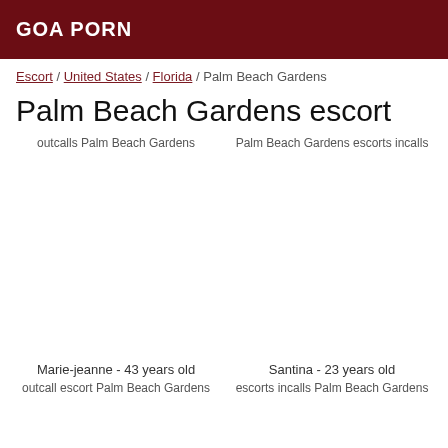GOA PORN
Escort / United States / Florida / Palm Beach Gardens
Palm Beach Gardens escort
outcalls Palm Beach Gardens
Palm Beach Gardens escorts incalls
Marie-jeanne - 43 years old
Santina - 23 years old
outcall escort Palm Beach Gardens
escorts incalls Palm Beach Gardens